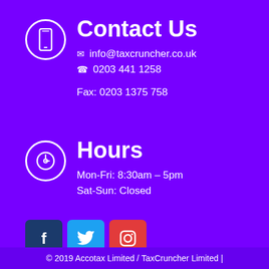Contact Us
info@taxcruncher.co.uk
0203 441 1258
Fax: 0203 1375 758
Hours
Mon-Fri: 8:30am – 5pm
Sat-Sun: Closed
[Figure (other): Social media icons: Facebook (dark blue), Twitter (light blue), Instagram (red)]
© 2019 Accotax Limited / TaxCruncher Limited |